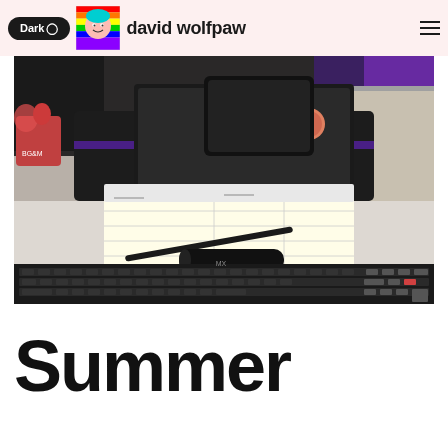Dark O | david wolfpaw
[Figure (photo): Desk setup photo showing a laptop on a tray, a notepad/planner with a pen and pen case, a keyboard in the foreground, a small plant pot, and a monitor with RGB lighting in the background.]
Summer